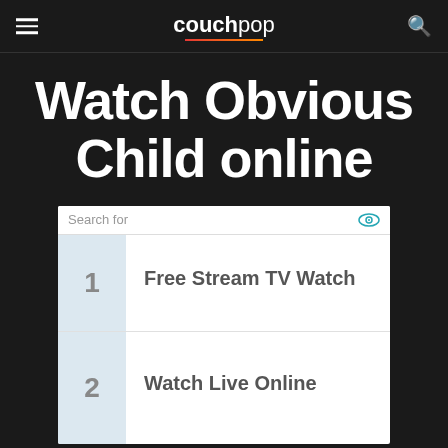couchpop
Watch Obvious Child online
[Figure (screenshot): Search advertisement box with two items: 1. Free Stream TV Watch, 2. Watch Live Online]
1  Free Stream TV Watch
2  Watch Live Online